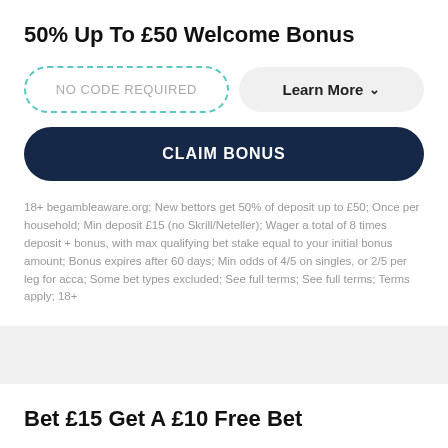50% Up To £50 Welcome Bonus
NO CODE REQUIRED
Learn More ˅
CLAIM BONUS
18+ begambleaware.org; New bettors get 50% of deposit up to £50; Once per household; Min deposit £15 (no Skrill/Neteller); Wager a total of 8 times deposit + bonus, with max qualifying bet stake equal to your initial bonus amount; Bonus expires after 60 days; Min odds of 4/5 on singles, or 2/5 per leg for acca; Some bet types excluded; See full terms; See full terms; Terms apply; 18+
Bet £15 Get A £10 Free Bet